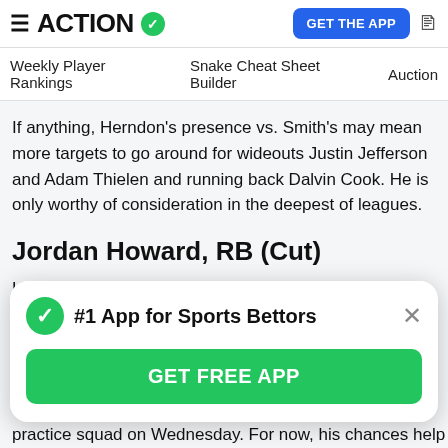ACTION ✓  GET THE APP
Weekly Player Rankings   Snake Cheat Sheet Builder   Auction
If anything, Herndon's presence vs. Smith's may mean more targets to go around for wideouts Justin Jefferson and Adam Thielen and running back Dalvin Cook. He is only worthy of consideration in the deepest of leagues.
Jordan Howard, RB (Cut)
Howard's second stint with the Eagles is officially over after the former Bears running back was released on Tuesday. He began the 2020 season with the Dolphins
[Figure (other): Popup banner: #1 App for Sports Bettors with GET FREE APP button and green checkmark icon]
practice squad on Wednesday. For now, his chances help